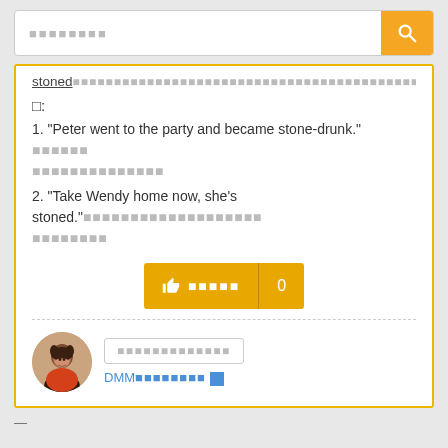[Figure (screenshot): Search bar with orange search button and magnifying glass icon]
stoned■■■■■■■■■■■■■■■■■■■■■■■■■■■■■■■■■■■■■■■■■■■■■■■
□:
1. "Peter went to the party and became stone-drunk." ■■■■■■ ■■■■■■■■■■■■■■
2. "Take Wendy home now, she's stoned."■■■■■■■■■■■■■■■■■■■ ■■■■■■■■
[Figure (other): Like/thumbs-up button with count 0]
[Figure (photo): User avatar photo of a woman]
■■■■■■■■■■■■■
DMM■■■■■■■■ ■